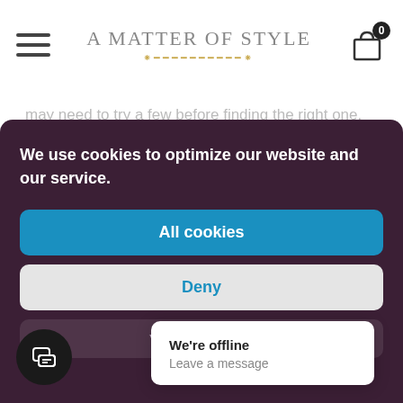A Matter of Style
...may need to try a few before finding the right one. When reviewing products, we considered design, material, value, age recommendations, and pacifier safety.
We use cookies to optimize our website and our service.
All cookies
Deny
View preferences
We're offline
Leave a message